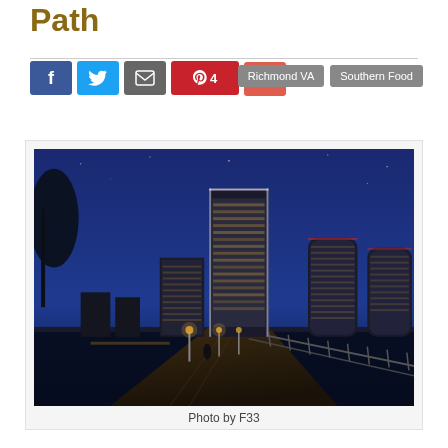Path
Richmond VA  Southern Food
[Figure (photo): Nighttime photo of the Richmond VA skyline viewed from a riverside walkway/path, with illuminated skyscrapers and city lights reflected, tree silhouettes on left, railing visible in foreground]
Photo by F33